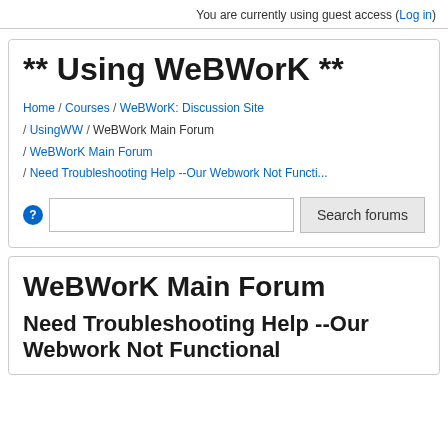You are currently using guest access (Log in)
** Using WeBWorK **
Home / Courses / WeBWorK: Discussion Site / UsingWW / WeBWork Main Forum / WeBWorK Main Forum / Need Troubleshooting Help --Our Webwork Not Functi...
WeBWorK Main Forum
Need Troubleshooting Help --Our Webwork Not Functional